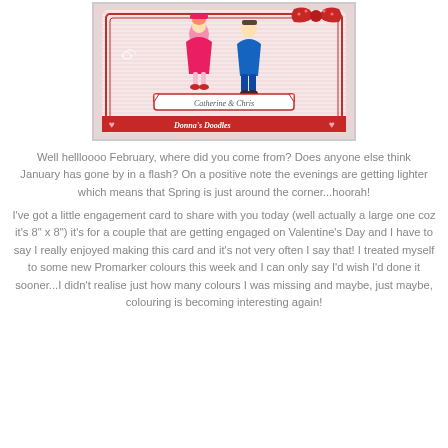[Figure (photo): A handmade greeting card showing two cartoon figures (a girl in pink and a boy in blue) with a large red bow, text reading 'Catherine & Chris', and a watermark for 'Donna's Doodles' with blog URL http://grennville.blogspot.com]
Well hellloooo February, where did you come from? Does anyone else think January has gone by in a flash? On a positive note the evenings are getting lighter which means that Spring is just around the corner...hoorah!
I've got a little engagement card to share with you today (well actually a large one coz it's 8" x 8") it's for a couple that are getting engaged on Valentine's Day and I have to say I really enjoyed making this card and it's not very often I say that! I treated myself to some new Promarker colours this week and I can only say I'd wish I'd done it sooner...I didn't realise just how many colours I was missing and maybe, just maybe, colouring is becoming interesting again!